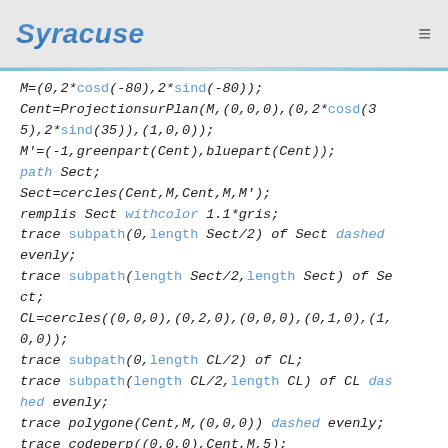Syracuse
M=(0,2*cosd(-80),2*sind(-80));
Cent=ProjectionsurPlan(M,(0,0,0),(0,2*cosd(35),2*sind(35)),(1,0,0));
M'=(-1,greenpart(Cent),bluepart(Cent));
path Sect;
Sect=cercles(Cent,M,Cent,M,M');
remplis Sect withcolor 1.1*gris;
trace subpath(0,length Sect/2) of Sect dashed evenly;
trace subpath(length Sect/2,length Sect) of Sect;
CL=cercles((0,0,0),(0,2,0),(0,0,0),(0,1,0),(1,0,0));
trace subpath(0,length CL/2) of CL;
trace subpath(length CL/2,length CL) of CL dashed evenly;
trace polygone(Cent,M,(0,0,0)) dashed evenly;
trace codeperp((0,0,0),Cent,M,5);
marque_p:="plein";
pointe(M,(0,0,0),Cent);
marque_p:="non";
label_top(btex $O$ etex,Projette((0,0,0)));